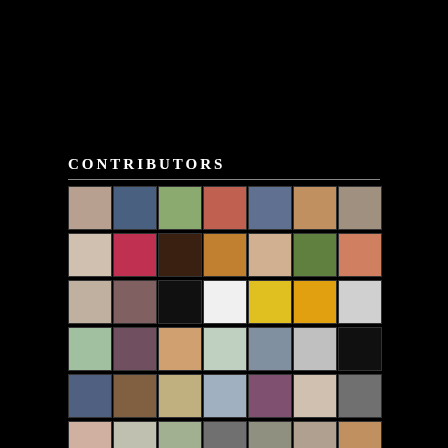CONTRIBUTORS
[Figure (photo): Grid of contributor headshot photos arranged in 7 columns and 6+ rows on a black background]
[Figure (photo): Row 1, photo 1: woman with dark hair, neutral background]
[Figure (photo): Row 1, photo 2: woman in front of colorful artwork]
[Figure (photo): Row 1, photo 3: blonde woman outdoors]
[Figure (photo): Row 1, photo 4: woman in red jacket]
[Figure (photo): Row 1, photo 5: person in blue uniform]
[Figure (photo): Row 1, photo 6: smiling woman]
[Figure (photo): Row 1, photo 7: woman side profile]